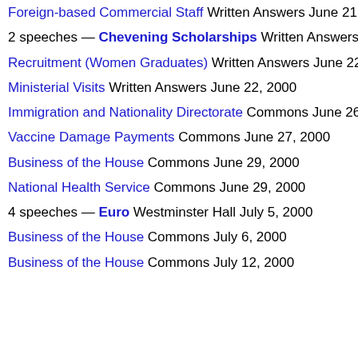Foreign-based Commercial Staff Written Answers June 21, 2000
2 speeches — Chevening Scholarships Written Answers Jun...
Recruitment (Women Graduates) Written Answers June 22, 2000
Ministerial Visits Written Answers June 22, 2000
Immigration and Nationality Directorate Commons June 26, 2000
Vaccine Damage Payments Commons June 27, 2000
Business of the House Commons June 29, 2000
National Health Service Commons June 29, 2000
4 speeches — Euro Westminster Hall July 5, 2000
Business of the House Commons July 6, 2000
Business of the House Commons July 12, 2000